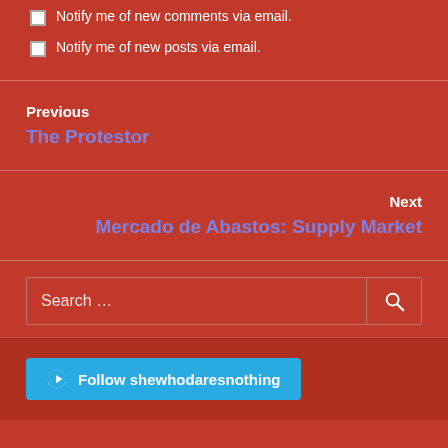Notify me of new comments via email.
Notify me of new posts via email.
Previous
The Protestor
Next
Mercado de Abastos: Supply Market
Search …
Follow shewhodaresnothing